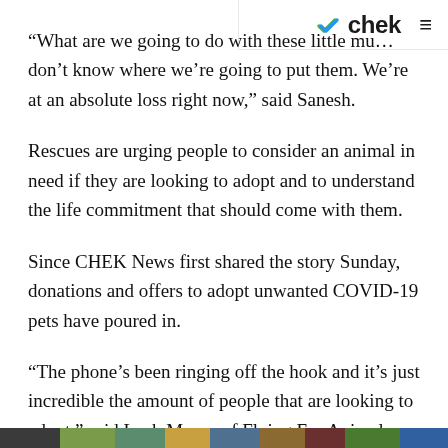✓chek ≡
“What are we going to do with these little mu… don’t know where we’re going to put them. We’re at an absolute loss right now,” said Sanesh.
Rescues are urging people to consider an animal in need if they are looking to adopt and to understand the life commitment that should come with them.
Since CHEK News first shared the story Sunday, donations and offers to adopt unwanted COVID-19 pets have poured in.
“The phone’s been ringing off the hook and it’s just incredible the amount of people that are looking to adopt,” said Leah Moore of Flying Fur Animal Rescue and Refuge.
[Figure (photo): Colorful image strip at the bottom of the page]